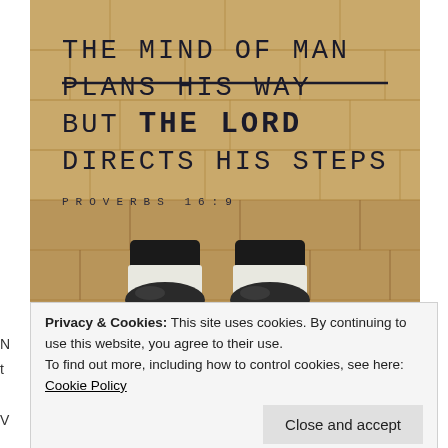[Figure (photo): A vintage-filtered overhead photo of stone/brick pavement with a person's feet in black flats and white socks visible at the bottom. Overlaid text reads: 'THE MIND OF MAN PLANS HIS WAY BUT THE LORD DIRECTS HIS STEPS PROVERBS 16:9']
Privacy & Cookies: This site uses cookies. By continuing to use this website, you agree to their use.
To find out more, including how to control cookies, see here: Cookie Policy
Close and accept